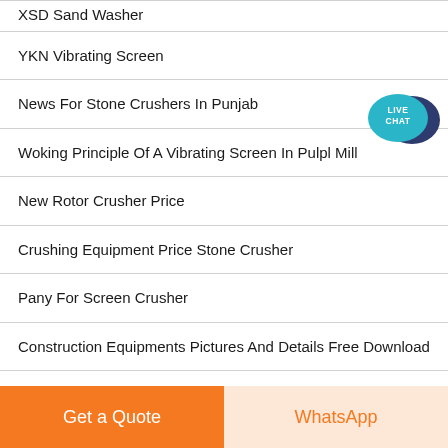XSD Sand Washer
YKN Vibrating Screen
News For Stone Crushers In Punjab
Woking Principle Of A Vibrating Screen In Pulpl Mill
New Rotor Crusher Price
Crushing Equipment Price Stone Crusher
Pany For Screen Crusher
Construction Equipments Pictures And Details Free Download
[Figure (illustration): Live Chat speech bubble badge in teal/dark blue colors with text LIVE CHAT]
Get a Quote | WhatsApp